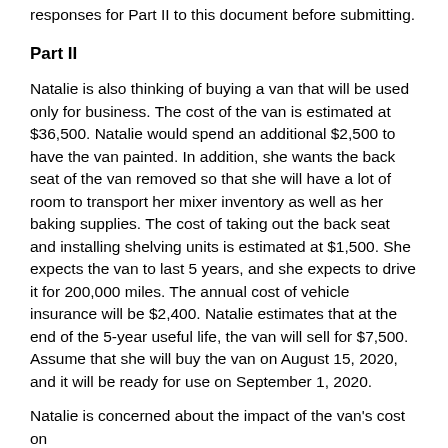responses for Part II to this document before submitting.
Part II
Natalie is also thinking of buying a van that will be used only for business. The cost of the van is estimated at $36,500. Natalie would spend an additional $2,500 to have the van painted. In addition, she wants the back seat of the van removed so that she will have a lot of room to transport her mixer inventory as well as her baking supplies. The cost of taking out the back seat and installing shelving units is estimated at $1,500. She expects the van to last 5 years, and she expects to drive it for 200,000 miles. The annual cost of vehicle insurance will be $2,400. Natalie estimates that at the end of the 5-year useful life, the van will sell for $7,500. Assume that she will buy the van on August 15, 2020, and it will be ready for use on September 1, 2020.
Natalie is concerned about the impact of the van's cost on